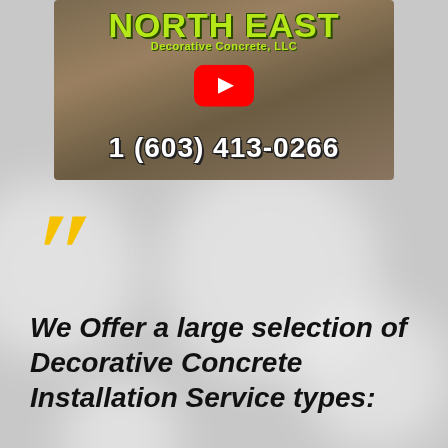[Figure (screenshot): Video thumbnail for Northeast Decorative Concrete, LLC showing company logo with phone number 1 (603) 413-0266 and a YouTube play button overlay]
We Offer a large selection of Decorative Concrete Installation Service types: